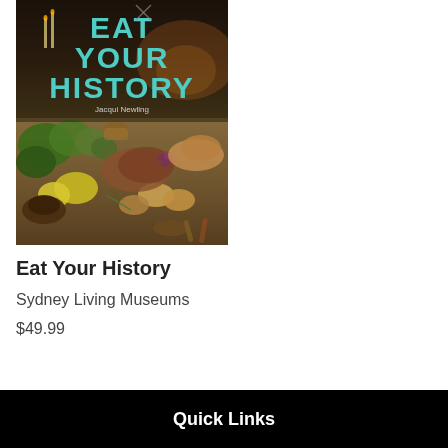[Figure (photo): Book cover of 'Eat Your History' by Jacqui Newling, published by Sydney Living Museums. The cover features teal/cyan bold text title on a dark background with a rustic food spread including vegetables, pies, and other historical dishes on a wooden table.]
Eat Your History
Sydney Living Museums
$49.99
Quick Links